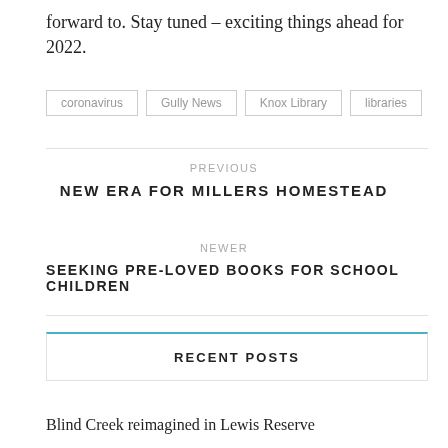forward to. Stay tuned – exciting things ahead for 2022.
coronavirus
Gully News
Knox Library
libraries
PREVIOUS
NEW ERA FOR MILLERS HOMESTEAD
NEWER
SEEKING PRE-LOVED BOOKS FOR SCHOOL CHILDREN
RECENT POSTS
Blind Creek reimagined in Lewis Reserve